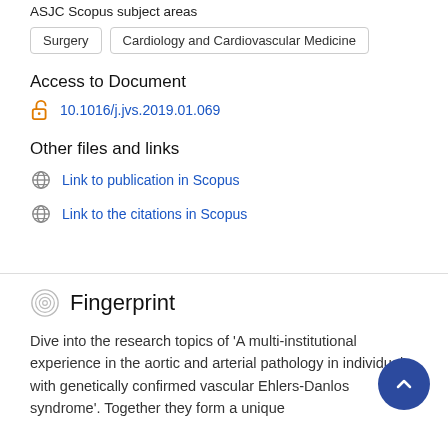ASJC Scopus subject areas
Surgery
Cardiology and Cardiovascular Medicine
Access to Document
10.1016/j.jvs.2019.01.069
Other files and links
Link to publication in Scopus
Link to the citations in Scopus
Fingerprint
Dive into the research topics of 'A multi-institutional experience in the aortic and arterial pathology in individuals with genetically confirmed vascular Ehlers-Danlos syndrome'. Together they form a unique fingerprint.